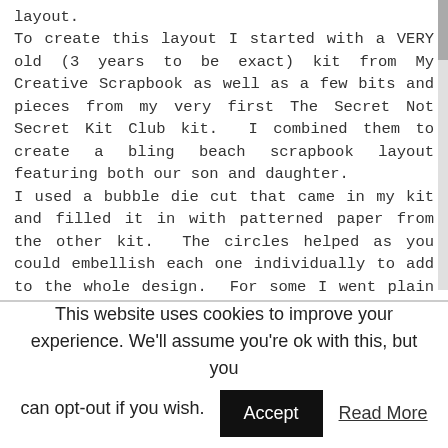layout. To create this layout I started with a VERY old (3 years to be exact) kit from My Creative Scrapbook as well as a few bits and pieces from my very first The Secret Not Secret Kit Club kit. I combined them to create a bling beach scrapbook layout featuring both our son and daughter. I used a bubble die cut that came in my kit and filled it in with patterned paper from the other kit.  The circles helped as you could embellish each one individually to add to the whole design. For some I went plain and for others I layered it up. I also did some with just a dashed line so it was interesting, but didn't really cause any distraction to the rest of the elements.
This website uses cookies to improve your experience. We'll assume you're ok with this, but you can opt-out if you wish.